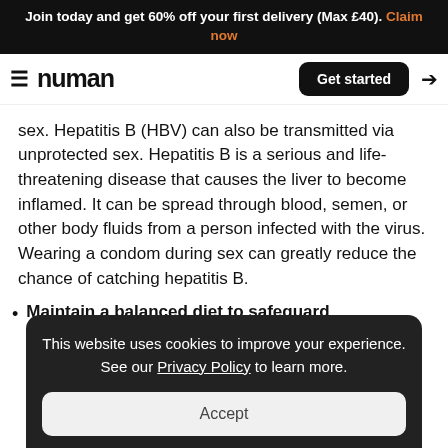Join today and get 60% off your first delivery (Max £40). Claim now
[Figure (screenshot): Numan website navigation bar with hamburger menu, logo, Get started button, and login icon]
sex. Hepatitis B (HBV) can also be transmitted via unprotected sex. Hepatitis B is a serious and life-threatening disease that causes the liver to become inflamed. It can be spread through blood, semen, or other body fluids from a person infected with the virus. Wearing a condom during sex can greatly reduce the chance of catching hepatitis B.
Maintain a balanced diet to safeguard...
This website uses cookies to improve your experience. See our Privacy Policy to learn more.
Accept